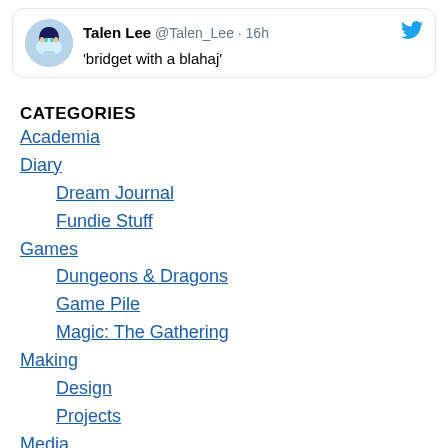[Figure (screenshot): Tweet card showing user 'Talen Lee @Talen_Lee · 16h' with text "'bridget with a blahaj'" and a Twitter bird icon]
CATEGORIES
Academia
Diary
Dream Journal
Fundie Stuff
Games
Dungeons & Dragons
Game Pile
Magic: The Gathering
Making
Design
Projects
Media
Story Pile
Meta